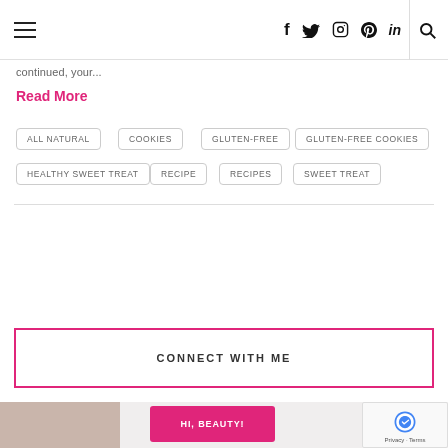Navigation bar with hamburger menu, social icons (f, Twitter, Instagram, Pinterest, LinkedIn), and search icon
continued, your...
Read More
ALL NATURAL
COOKIES
GLUTEN-FREE
GLUTEN-FREE COOKIES
HEALTHY SWEET TREAT
RECIPE
RECIPES
SWEET TREAT
CONNECT WITH ME
[Figure (photo): Bottom section with a photo and HI, BEAUTY! pink button with reCAPTCHA overlay]